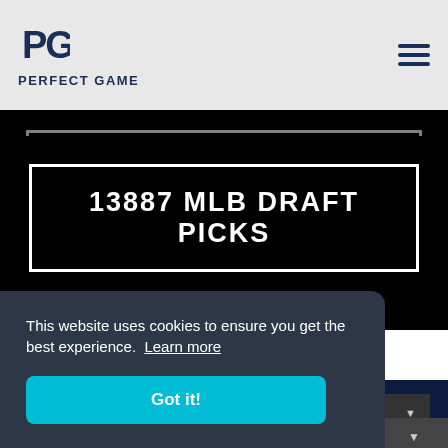PERFECT GAME
13887 MLB DRAFT PICKS
PG Special Events
This website uses cookies to ensure you get the best experience. Learn more
Got it!